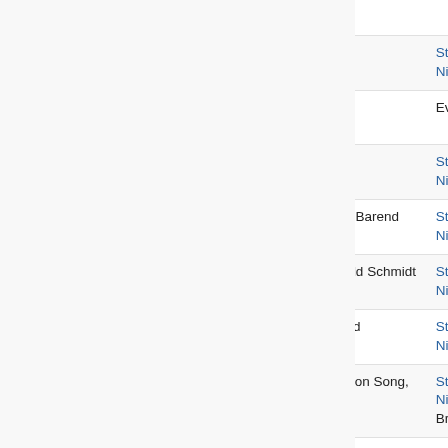| Day | Date | Venue | Who | Type |
| --- | --- | --- | --- | --- |
|  | 2003-10-12 | Show |  |  |
| Mon | 2003-10-13 | Rotterdam, De Doelen | Steve Nieve | Concert |
| Mon | 2003-10-13 | Rotterdam, Walk Of Fame | Event | event |
| Tue | 2003-10-14 | Amsterdam, Pepsi Stage | Steve Nieve | Concert |
| Wed | 2003-10-15 | Dutch TV RTL4, Amsterdam; Barend von Dorp show | Steve Nieve | TV |
| Thu | 2003-10-16 | SAT.1 TV, Cologne; Die Harald Schmidt Show | Steve Nieve | TV |
| Fri | 2003-10-17 | Offenbach, Capitol - cancelled | Steve Nieve | Concert |
| Sat | 2003-10-18 | BBC2 internet, London; Sold on Song, Brodsky | Steve Nieve & the Brodsky | internet |